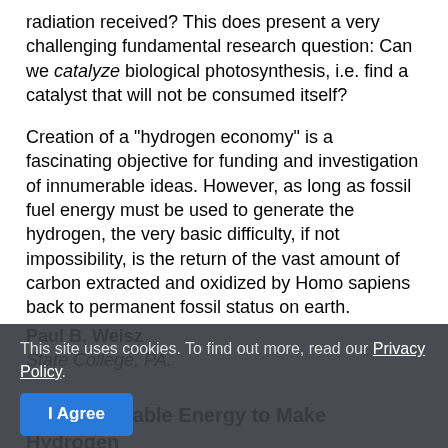radiation received? This does present a very challenging fundamental research question: Can we catalyze biological photosynthesis, i.e. find a catalyst that will not be consumed itself?
Creation of a "hydrogen economy" is a fascinating objective for funding and investigation of innumerable ideas. However, as long as fossil fuel energy must be used to generate the hydrogen, the very basic difficulty, if not impossibility, is the return of the vast amount of carbon extracted and oxidized by Homo sapiens back to permanent fossil status on earth.
Paul B. Weisz
State College, PA.
Use Renewable Energy to Make Hydrogen
An arrow essa cookies, stating out more, they bad...
This site uses cookies. To find out more, read our Privacy Policy.
I Agree